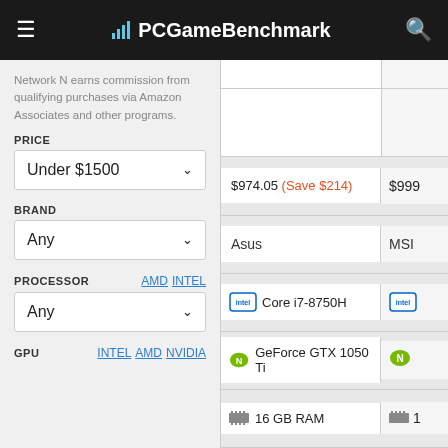PCGameBenchmark
Network N earns commission from qualifying purchases via Amazon Associates and other programs.
PRICE
Under $1500
BRAND
Any
PROCESSOR
Any
GPU
| Price/Brand/CPU/GPU/RAM | Col2 |
| --- | --- |
| $974.05 (Save $214) | $999 |
| Asus | MSI |
| Core i7-8750H |  |
| GeForce GTX 1050 Ti |  |
| 16 GB RAM | 1 |